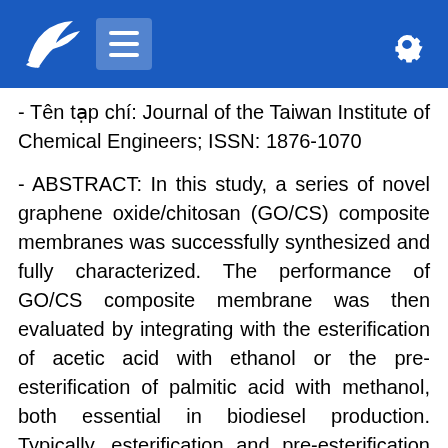Journal of the Taiwan Institute of Chemical Engineers; ISSN: 1876-1070
- Tên tạp chí: Journal of the Taiwan Institute of Chemical Engineers; ISSN: 1876-1070
- ABSTRACT: In this study, a series of novel graphene oxide/chitosan (GO/CS) composite membranes was successfully synthesized and fully characterized. The performance of GO/CS composite membrane was then evaluated by integrating with the esterification of acetic acid with ethanol or the pre-esterification of palmitic acid with methanol, both essential in biodiesel production. Typically, esterification and pre-esterification are reversible reactions, which are limited by chemical equilibrium, resulting in a low